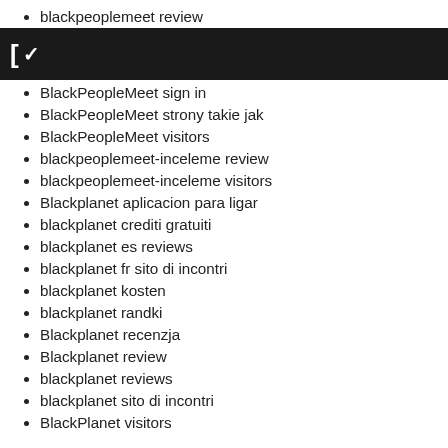blackpeoplemeet review
C~
BlackPeopleMeet sign in
BlackPeopleMeet strony takie jak
BlackPeopleMeet visitors
blackpeoplemeet-inceleme review
blackpeoplemeet-inceleme visitors
Blackplanet aplicacion para ligar
blackplanet crediti gratuiti
blackplanet es reviews
blackplanet fr sito di incontri
blackplanet kosten
blackplanet randki
Blackplanet recenzja
Blackplanet review
blackplanet reviews
blackplanet sito di incontri
BlackPlanet visitors
blackplanet-recenze MobilnΓ strΓŸnka
BlackScene find out here
blacksingles online dating
blacksingles revisi?n
blender review
blender reviews